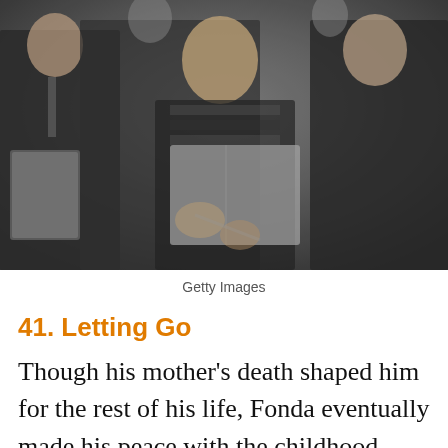[Figure (photo): Black and white photograph of three people looking at books or papers, including a woman in a striped top and dark jacket holding an open book or folder, and two men on either side of her.]
Getty Images
41. Letting Go
Though his mother’s death shaped him for the rest of his life, Fonda eventually made his peace with the childhood tragedy. In